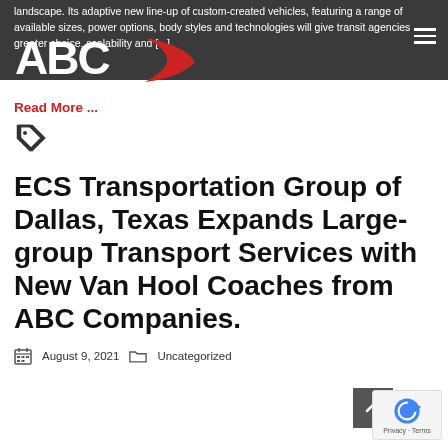landscape. Its adaptive new line-up of custom-created vehicles, featuring a range of available sizes, power options, body styles and technologies will give transit agencies greater choice, scalability and [...]
Read More ...
ECS Transportation Group of Dallas, Texas Expands Large-group Transport Services with New Van Hool Coaches from ABC Companies.
August 9, 2021   Uncategorized